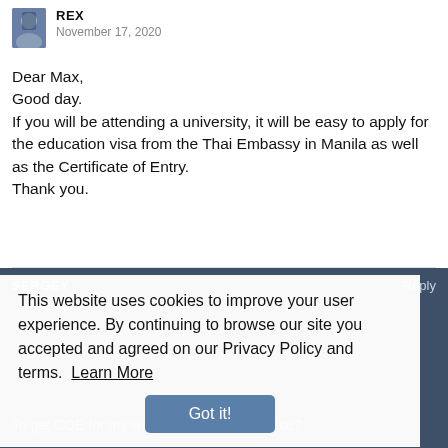REX
November 17, 2020
Dear Max,
Good day.
If you will be attending a university, it will be easy to apply for the education visa from the Thai Embassy in Manila as well as the Certificate of Entry.
Thank you.
SERGEY
Reply
This website uses cookies to improve your user experience. By continuing to browse our site you accepted and agreed on our Privacy Policy and terms. Learn More
Got it!
To get COE for my wife do insurance?